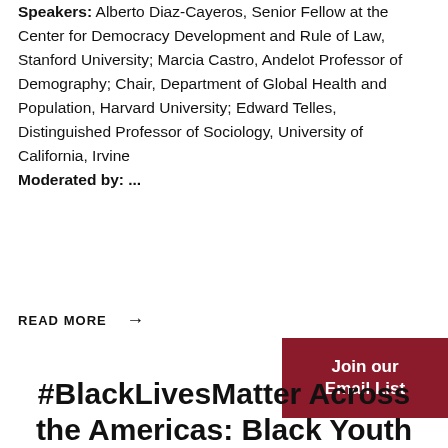Speakers: Alberto Diaz-Cayeros, Senior Fellow at the Center for Democracy Development and Rule of Law, Stanford University; Marcia Castro, Andelot Professor of Demography; Chair, Department of Global Health and Population, Harvard University; Edward Telles, Distinguished Professor of Sociology, University of California, Irvine
Moderated by: ...
READ MORE →
Join our Email List
#BlackLivesMatter Across the Americas: Black Youth